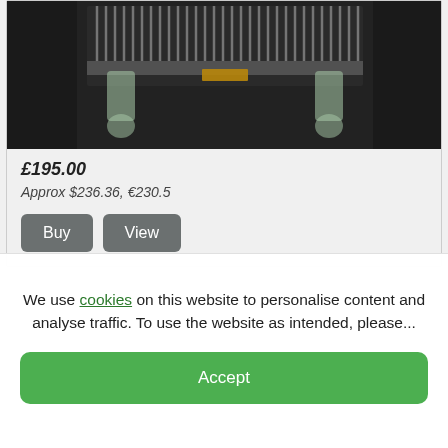[Figure (photo): Product photo of a clear plastic component (likely a CPU cooler or heatsink bracket) on a dark background, showing fins and clear plastic mounting clips]
£195.00
Approx $236.36, €230.5
We use cookies on this website to personalise content and analyse traffic. To use the website as intended, please...
Accept